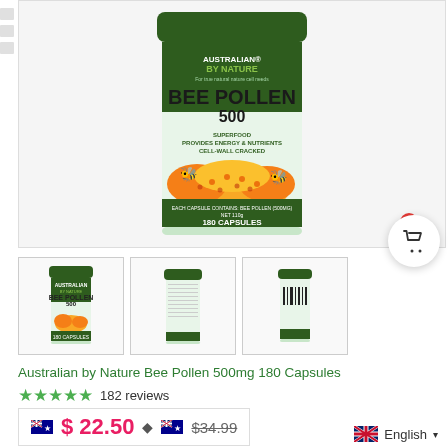[Figure (photo): Australian by Nature Bee Pollen 500 product bottle - main large image showing green and cream colored jar with bee pollen granules]
[Figure (photo): Thumbnail 1: Front view of Australian by Nature Bee Pollen 500 bottle]
[Figure (photo): Thumbnail 2: Back view of Australian by Nature Bee Pollen 500 bottle]
[Figure (photo): Thumbnail 3: Side/barcode view of Australian by Nature Bee Pollen 500 bottle]
Australian by Nature Bee Pollen 500mg 180 Capsules
★★★★★ 182 reviews
$22.50 ◆ $34.99
English